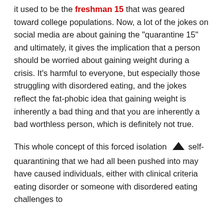it used to be the freshman 15 that was geared toward college populations. Now, a lot of the jokes on social media are about gaining the "quarantine 15" and ultimately, it gives the implication that a person should be worried about gaining weight during a crisis. It's harmful to everyone, but especially those struggling with disordered eating, and the jokes reflect the fat-phobic idea that gaining weight is inherently a bad thing and that you are inherently a bad worthless person, which is definitely not true.
This whole concept of this forced isolation self-quarantining that we had all been pushed into may have caused individuals, either with clinical criteria eating disorder or someone with disordered eating challenges to...